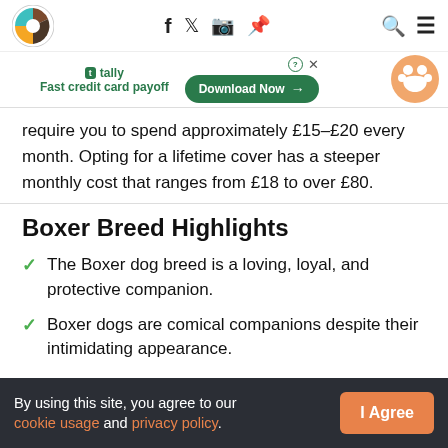Navigation bar with logo, social icons (Facebook, Twitter, Instagram, Pinterest), search and menu icons
[Figure (infographic): Tally advertisement banner: 'Fast credit card payoff' with Download Now button and paw print badge]
require you to spend approximately £15–£20 every month. Opting for a lifetime cover has a steeper monthly cost that ranges from £18 to over £80.
Boxer Breed Highlights
The Boxer dog breed is a loving, loyal, and protective companion.
Boxer dogs are comical companions despite their intimidating appearance.
By using this site, you agree to our cookie usage and privacy policy. [I Agree button]